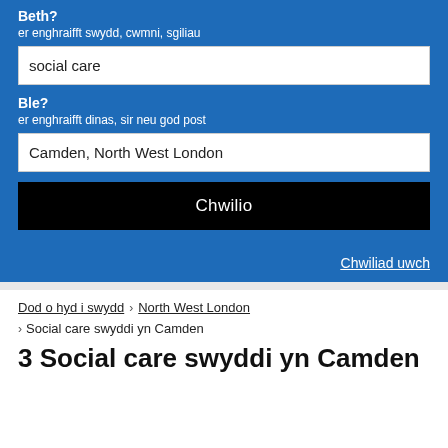Beth?
er enghraifft swydd, cwmni, sgiliau
social care
Ble?
er enghraifft dinas, sir neu god post
Camden, North West London
Chwilio
Chwiliad uwch
Dod o hyd i swydd > North West London > Social care swyddi yn Camden
3 Social care swyddi yn Camden